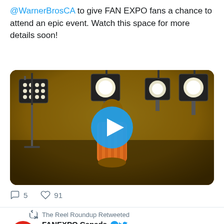@WarnerBrosCA to give FAN EXPO fans a chance to attend an epic event. Watch this space for more details soon!
[Figure (screenshot): Video thumbnail showing a person standing in a studio with stage lights, with a blue play button overlay]
5  91
The Reel Roundup Retweeted
FANEXPO Canada @FANEXPCANA... · 16h